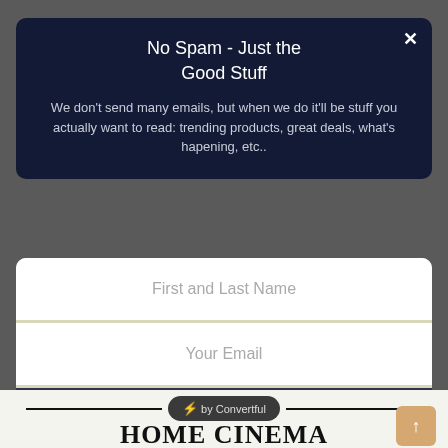No Spam - Just the Good Stuff
We don't send many emails, but when we do it'll be stuff you actually want to read: trending products, great deals, what's hapening, etc..
First and Last Name
Your Email
Join the Club
[Figure (logo): Convertful badge with lightning bolt icon on a dark pill-shaped background with horizontal lines on either side]
HOME CINEMA